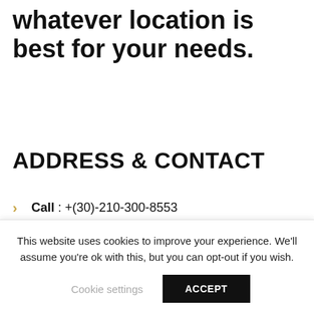whatever location is best for your needs.
ADDRESS & CONTACT
Call : +(30)-210-300-8553
This website uses cookies to improve your experience. We'll assume you're ok with this, but you can opt-out if you wish.